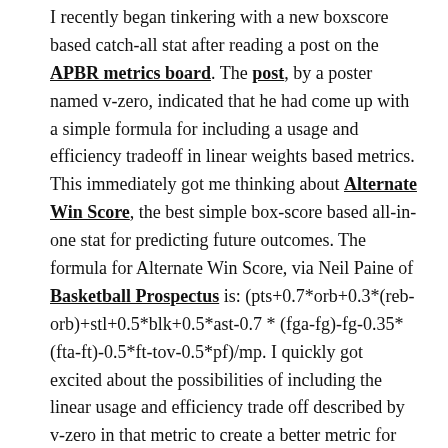I recently began tinkering with a new boxscore based catch-all stat after reading a post on the APBR metrics board. The post, by a poster named v-zero, indicated that he had come up with a simple formula for including a usage and efficiency tradeoff in linear weights based metrics. This immediately got me thinking about Alternate Win Score, the best simple box-score based all-in-one stat for predicting future outcomes. The formula for Alternate Win Score, via Neil Paine of Basketball Prospectus is: (pts+0.7*orb+0.3*(reb-orb)+stl+0.5*blk+0.5*ast-0.7 * (fga-fg)-fg-0.35*(fta-ft)-0.5*ft-tov-0.5*pf)/mp. I quickly got excited about the possibilities of including the linear usage and efficiency trade off described by v-zero in that metric to create a better metric for rating players, relatively quickly.
So that's what I did. Introducing, the rather boringly titled, Usage Adjusted Rating. I pulled the data, updated to